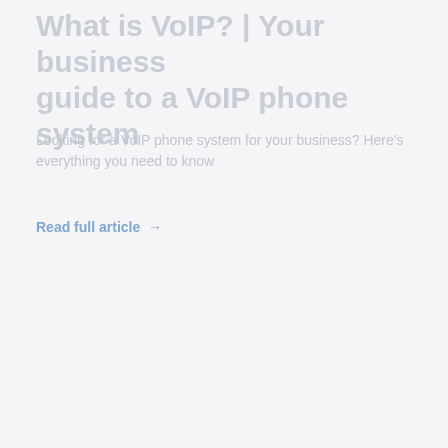What is VoIP? | Your business guide to a VoIP phone system
Looking for a VoIP phone system for your business? Here's everything you need to know
Read full article →